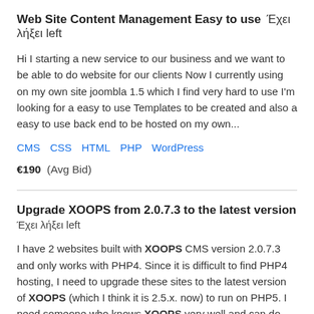Web Site Content Management Easy to use  Έχει λήξει left
Hi I starting a new service to our business and we want to be able to do website for our clients Now I currently using on my own site joombla 1.5 which I find very hard to use I'm looking for a easy to use Templates to be created and also a easy to use back end to be hosted on my own...
CMS  CSS  HTML  PHP  WordPress
€190  (Avg Bid)
Upgrade XOOPS from 2.0.7.3 to the latest version
Έχει λήξει left
I have 2 websites built with XOOPS CMS version 2.0.7.3 and only works with PHP4. Since it is difficult to find PHP4 hosting, I need to upgrade these sites to the latest version of XOOPS (which I think it is 2.5.x. now) to run on PHP5. I need someone who knows XOOPS very well and can do